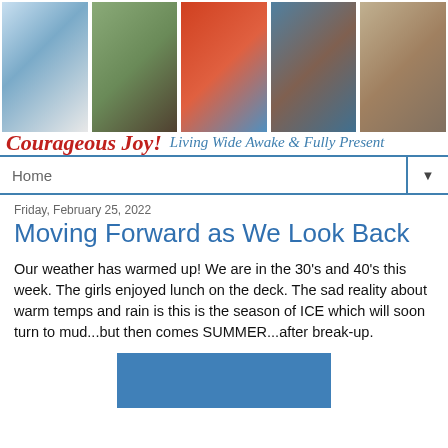[Figure (photo): Header banner with five photo collage images showing outdoor winter scenes, fishing, people hugging, men with kayaks, and a family group indoors.]
Courageous Joy! Living Wide Awake & Fully Present
Home
Friday, February 25, 2022
Moving Forward as We Look Back
Our weather has warmed up! We are in the 30's and 40's this week. The girls enjoyed lunch on the deck. The sad reality about warm temps and rain is this is the season of ICE which will soon turn to mud...but then comes SUMMER...after break-up.
[Figure (photo): A blue rectangular photo, partially visible at the bottom of the page.]